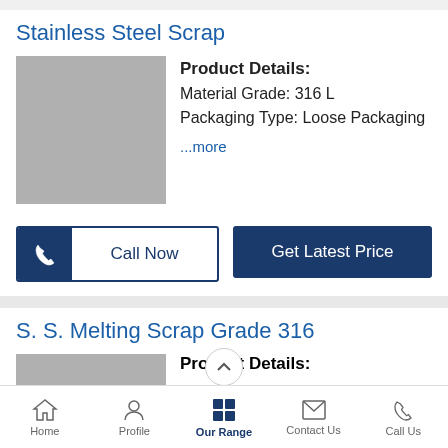Stainless Steel Scrap
[Figure (photo): Grey placeholder image for Stainless Steel Scrap product]
Product Details:
Material Grade: 316 L
Packaging Type: Loose Packaging
...more
Call Now
Get Latest Price
S. S. Melting Scrap Grade 316
[Figure (photo): Grey placeholder image for S. S. Melting Scrap Grade 316 product]
Product Details:
Home | Profile | Our Range | Contact Us | Call Us